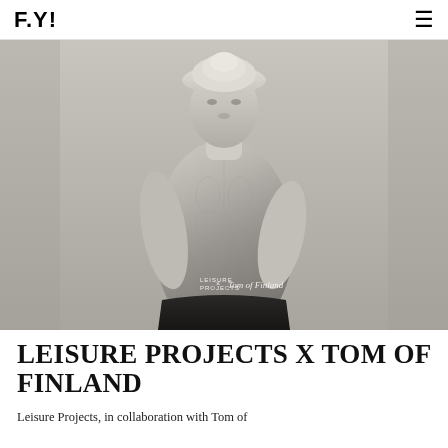F.Y!
[Figure (photo): Black and white fashion photograph of a shirtless muscular male model wearing dark briefs and a light-colored turban/hat, with a watermark reading 'LEISURE PROJECTS x Tom of Finland']
LEISURE PROJECTS X TOM OF FINLAND
Leisure Projects, in collaboration with Tom of